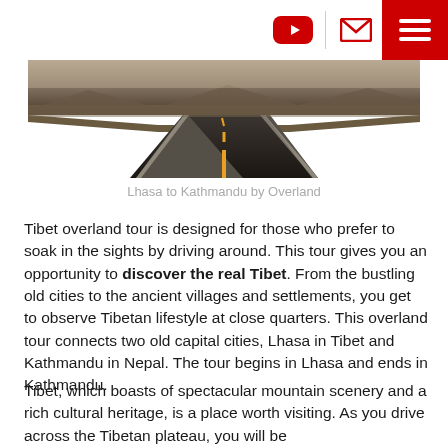[YouTube icon] | [Mail icon] [Menu icon]
[Figure (photo): A straight road through a flat landscape, viewed from driver's perspective, vanishing into the distance with dark asphalt and yellow center line markings.]
Lhasa to Kathmandu by Overland
Tibet overland tour is designed for those who prefer to soak in the sights by driving around. This tour gives you an opportunity to discover the real Tibet. From the bustling old cities to the ancient villages and settlements, you get to observe Tibetan lifestyle at close quarters. This overland tour connects two old capital cities, Lhasa in Tibet and Kathmandu in Nepal. The tour begins in Lhasa and ends in Kathmandu.
Tibet, which boasts of spectacular mountain scenery and a rich cultural heritage, is a place worth visiting. As you drive across the Tibetan plateau, you will be